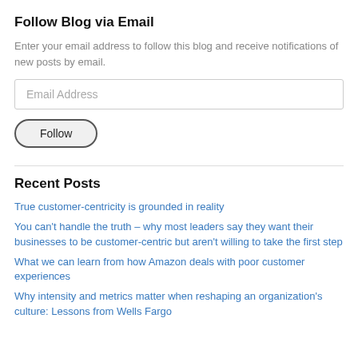Follow Blog via Email
Enter your email address to follow this blog and receive notifications of new posts by email.
Email Address
Follow
Recent Posts
True customer-centricity is grounded in reality
You can't handle the truth – why most leaders say they want their businesses to be customer-centric but aren't willing to take the first step
What we can learn from how Amazon deals with poor customer experiences
Why intensity and metrics matter when reshaping an organization's culture: Lessons from Wells Fargo